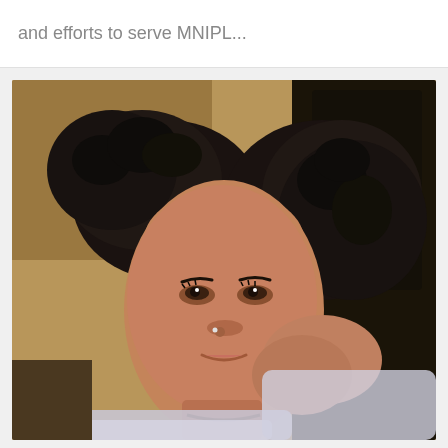and efforts to serve MNIPL...
[Figure (photo): Selfie of a young Black woman with natural curly hair styled in two puffs, resting her cheek on her hand, wearing a white fuzzy sweater and a necklace, smiling softly. Background shows a room interior.]